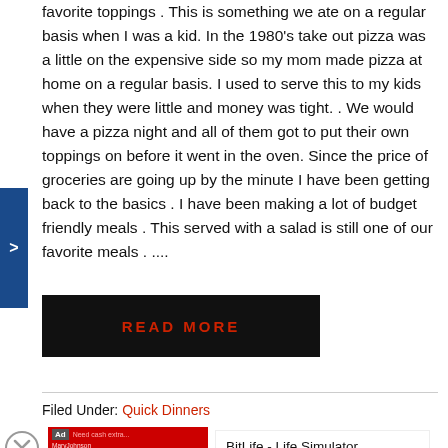favorite toppings . This is something we ate on a regular basis when I was a kid. In the 1980's take out pizza was a little on the expensive side so my mom made pizza at home on a regular basis. I used to serve this to my kids when they were little and money was tight. . We would have a pizza night and all of them got to put their own toppings on before it went in the oven. Since the price of groceries are going up by the minute I have been getting back to the basics . I have been making a lot of budget friendly meals . This served with a salad is still one of our favorite meals . ....
[Figure (other): Black 'READ MORE' button with red text]
Filed Under: Quick Dinners
[Figure (screenshot): Advertisement for BitLife - Life Simulator app with install button]